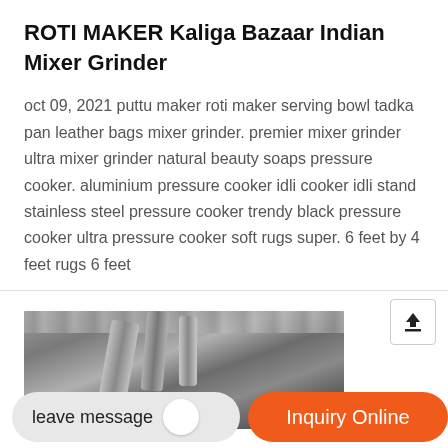ROTI MAKER Kaliga Bazaar Indian Mixer Grinder
oct 09, 2021 puttu maker roti maker serving bowl tadka pan leather bags mixer grinder. premier mixer grinder ultra mixer grinder natural beauty soaps pressure cooker. aluminium pressure cooker idli cooker idli stand stainless steel pressure cooker trendy black pressure cooker ultra pressure cooker soft rugs super. 6 feet by 4 feet rugs 6 feet
[Figure (photo): Industrial machinery photo showing large metal pipes/ducts in a factory or warehouse setting with a metal ceiling structure]